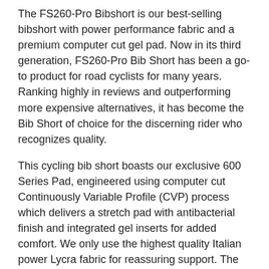The FS260-Pro Bibshort is our best-selling bibshort with power performance fabric and a premium computer cut gel pad. Now in its third generation, FS260-Pro Bib Short has been a go-to product for road cyclists for many years. Ranking highly in reviews and outperforming more expensive alternatives, it has become the Bib Short of choice for the discerning rider who recognizes quality.
This cycling bib short boasts our exclusive 600 Series Pad, engineered using computer cut Continuously Variable Profile (CVP) process which delivers a stretch pad with antibacterial finish and integrated gel inserts for added comfort. We only use the highest quality Italian power Lycra fabric for reassuring support. The upper bib provides optimal breathability with a light-wicking stretch mesh. They have a pre-curved race fit and are supportive and comfortable for most rider heights.
- High-quality Italian Lycra fabric
- 600 series pad, computer cut Continuously Variable